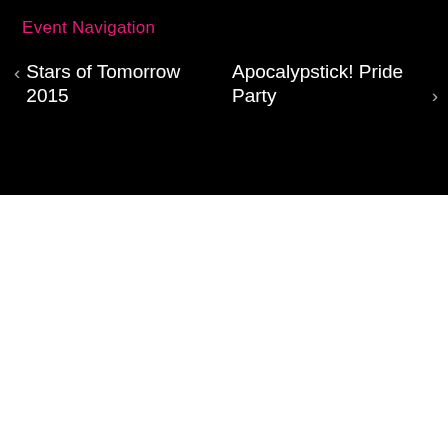Event Navigation
< Stars of Tomorrow 2015
Apocalypstick! Pride Party >